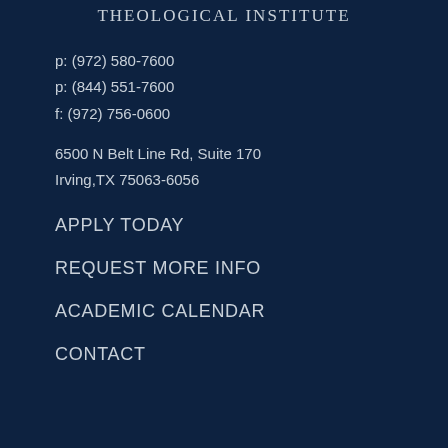THEOLOGICAL INSTITUTE
p: (972) 580-7600
p: (844) 551-7600
f: (972) 756-0600
6500 N Belt Line Rd, Suite 170
Irving,TX 75063-6056
APPLY TODAY
REQUEST MORE INFO
ACADEMIC CALENDAR
CONTACT